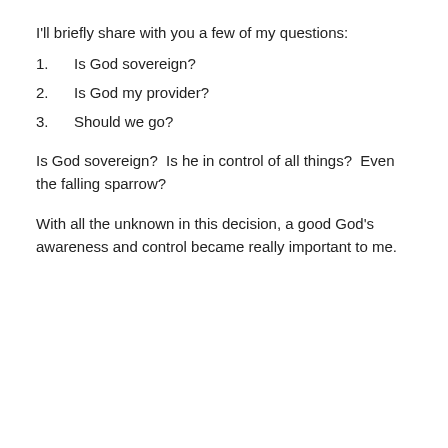I'll briefly share with you a few of my questions:
1.    Is God sovereign?
2.    Is God my provider?
3.    Should we go?
Is God sovereign?  Is he in control of all things?  Even the falling sparrow?
With all the unknown in this decision, a good God’s awareness and control became really important to me.